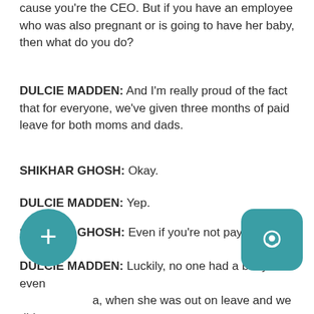cause you're the CEO. But if you have an employee who was also pregnant or is going to have her baby, then what do you do?
DULCIE MADDEN: And I'm really proud of the fact that for everyone, we've given three months of paid leave for both moms and dads.
SHIKHAR GHOSH: Okay.
DULCIE MADDEN: Yep.
SHIKHAR GHOSH: Even if you're not paying them?
DULCIE MADDEN: Luckily, no one had a baby. But even a, when she was out on leave and we did y, I made sure that I still paid her. Yeah. B if you don't treat your people well, then you can't expect